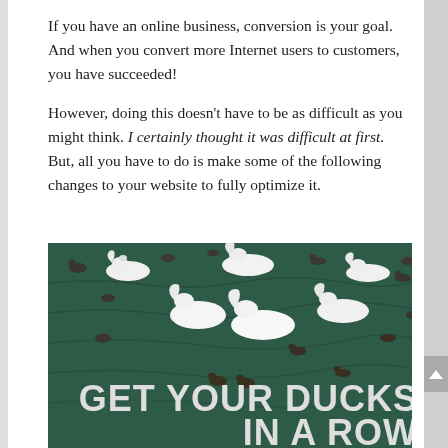If you have an online business, conversion is your goal. And when you convert more Internet users to customers, you have succeeded!
However, doing this doesn't have to be as difficult as you might think. I certainly thought it was difficult at first. But, all you have to do is make some of the following changes to your website to fully optimize it.
[Figure (photo): Photo of swans and ducks swimming on dark green water, with bold text overlay reading 'GET YOUR DUCKS IN A ROW']